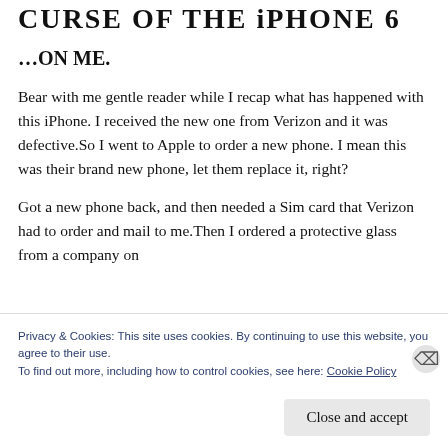CURSE OF THE iPHONE 6
…ON ME.
Bear with me gentle reader while I recap what has happened with this iPhone. I received the new one from Verizon and it was defective.So I went to Apple to order a new phone. I mean this was their brand new phone, let them replace it, right?
Got a new phone back, and then needed a Sim card that Verizon had to order and mail to me.Then I ordered a protective glass from a company on
Privacy & Cookies: This site uses cookies. By continuing to use this website, you agree to their use.
To find out more, including how to control cookies, see here: Cookie Policy
Close and accept